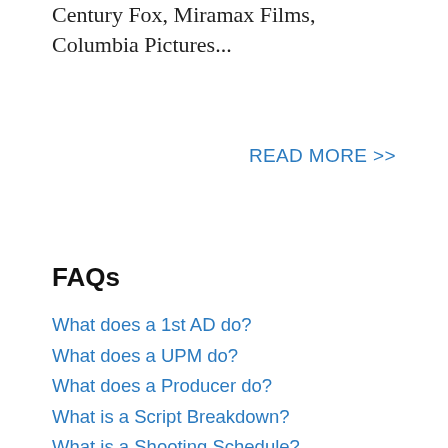Century Fox, Miramax Films, Columbia Pictures...
READ MORE >>
FAQs
What does a 1st AD do?
What does a UPM do?
What does a Producer do?
What is a Script Breakdown?
What is a Shooting Schedule?
What is a Production Board?
What is a Production Report?
What is Location Scouting?